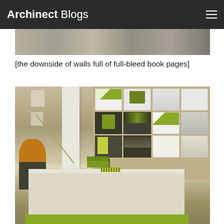Archinect Blogs
[Figure (photo): Top portion of an exhibition photo, partially visible]
[the downside of walls full of full-bleed book pages]
[Figure (photo): Interior of an architecture exhibition space showing a white table with green architectural models in the foreground, and a wall covered with a grid of book pages/posters with green and black-and-white imagery in the background. A white pillar is visible on the left, and a person in yellow is partially visible.]